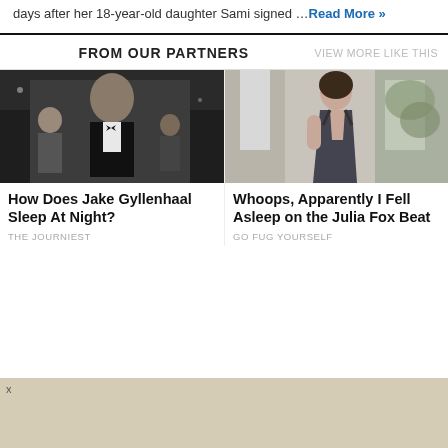days after her 18-year-old daughter Sami signed … Read More »
FROM OUR PARTNERS
VIEW MORE LIKE THIS
[Figure (photo): Photo of Jake Gyllenhaal in a tuxedo at a red carpet event]
How Does Jake Gyllenhaal Sleep At Night?
THE JOURNIEST
[Figure (photo): Photo of a woman in a fashion outfit walking outdoors]
Whoops, Apparently I Fell Asleep on the Julia Fox Beat
GO FUG YOURSELF